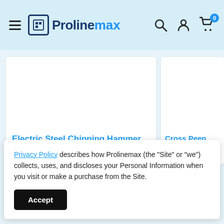[Figure (logo): Prolinemax logo with hamburger menu, search, account, and cart icons in a light blue navigation bar]
[Figure (screenshot): Product card showing Electric Steel Chipping Hammer with blue title text]
[Figure (screenshot): Partial product card showing Cross Peen Steel Chipping with blue title text]
Privacy Policy describes how Prolinemax (the “Site” or “we”) collects, uses, and discloses your Personal Information when you visit or make a purchase from the Site.
Accept